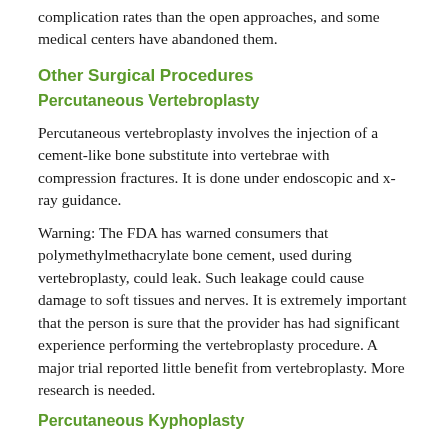complication rates than the open approaches, and some medical centers have abandoned them.
Other Surgical Procedures
Percutaneous Vertebroplasty
Percutaneous vertebroplasty involves the injection of a cement-like bone substitute into vertebrae with compression fractures. It is done under endoscopic and x-ray guidance.
Warning: The FDA has warned consumers that polymethylmethacrylate bone cement, used during vertebroplasty, could leak. Such leakage could cause damage to soft tissues and nerves. It is extremely important that the person is sure that the provider has had significant experience performing the vertebroplasty procedure. A major trial reported little benefit from vertebroplasty. More research is needed.
Percutaneous Kyphoplasty